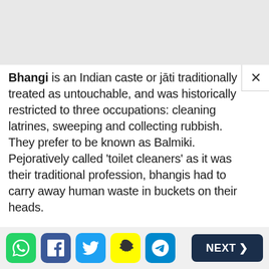Bhangi is an Indian caste or jāti traditionally treated as untouchable, and was historically restricted to three occupations: cleaning latrines, sweeping and collecting rubbish. They prefer to be known as Balmiki. Pejoratively called 'toilet cleaners' as it was their traditional profession, bhangis had to carry away human waste in buckets on their heads.
In India's traditional caste system, professions were passed down from father to son, so a boy born into the Bhangi family was forced into this